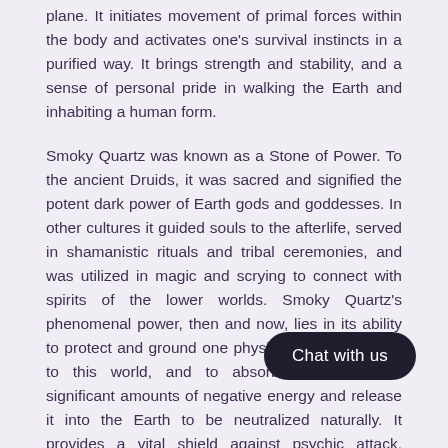plane. It initiates movement of primal forces within the body and activates one's survival instincts in a purified way. It brings strength and stability, and a sense of personal pride in walking the Earth and inhabiting a human form.
Smoky Quartz was known as a Stone of Power. To the ancient Druids, it was sacred and signified the potent dark power of Earth gods and goddesses. In other cultures it guided souls to the afterlife, served in shamanistic rituals and tribal ceremonies, and was utilized in magic and scrying to connect with spirits of the lower worlds. Smoky Quartz's phenomenal power, then and now, lies in its ability to protect and ground one physically and spiritually to this world, and to absorb and transmute significant amounts of negative energy and release it into the Earth to be neutralized naturally. It provides a vital shield against psychic attack, emotional and environmental stress, and is used extensively in healing and meditation.
Smoky Quartz is the national gem of Scotland, a country with the longest historical association with the stone. The Celts colonizing the British Isles around 300 B.C., mined Smoky Quartz in the Cairngorm Mountains of the Scottish highlands, calling the dark brown to black crystals they found MORION, and the yellow-brown